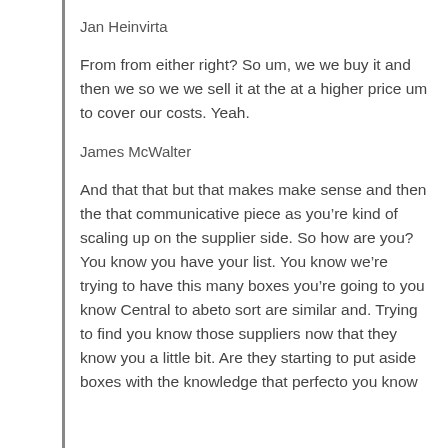Jan Heinvirta
From from either right? So um, we we buy it and then we so we we sell it at the at a higher price um to cover our costs. Yeah.
James McWalter
And that that but that makes make sense and then the that communicative piece as you’re kind of scaling up on the supplier side. So how are you? You know you have your list. You know we’re trying to have this many boxes you’re going to you know Central to abeto sort are similar and. Trying to find you know those suppliers now that they know you a little bit. Are they starting to put aside boxes with the knowledge that perfecto you know